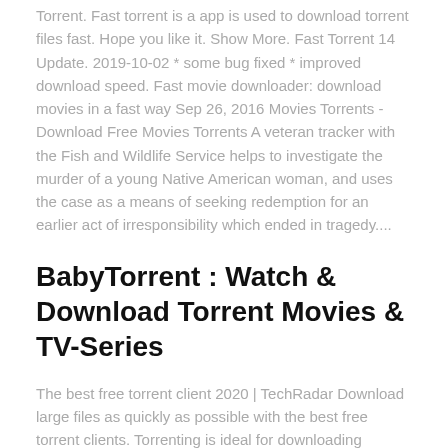Torrent. Fast torrent is a app is used to download torrent files fast. Hope you like it. Show More. Fast Torrent 14 Update. 2019-10-02 * some bug fixed * improved download speed. Fast movie downloader: download movies in a fast way Sep 26, 2016 Movies Torrents - Download Free Movies Torrents A veteran tracker with the Fish and Wildlife Service helps to investigate the murder of a young Native American woman, and uses the case as a means of seeking redemption for an earlier act of irresponsibility which ended in tragedy....
BabyTorrent : Watch & Download Torrent Movies & TV-Series
The best free torrent client 2020 | TechRadar Download large files as quickly as possible with the best free torrent clients. Torrenting is ideal for downloading exceptionally large files – like a video or a large piece of software